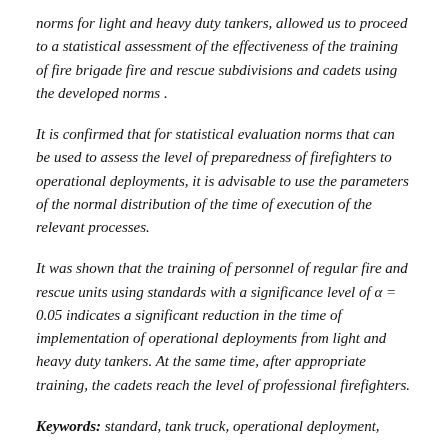norms for light and heavy duty tankers, allowed us to proceed to a statistical assessment of the effectiveness of the training of fire brigade fire and rescue subdivisions and cadets using the developed norms .
It is confirmed that for statistical evaluation norms that can be used to assess the level of preparedness of firefighters to operational deployments, it is advisable to use the parameters of the normal distribution of the time of execution of the relevant processes.
It was shown that the training of personnel of regular fire and rescue units using standards with a significance level of α = 0.05 indicates a significant reduction in the time of implementation of operational deployments from light and heavy duty tankers. At the same time, after appropriate training, the cadets reach the level of professional firefighters.
Keywords: standard, tank truck, operational deployment,